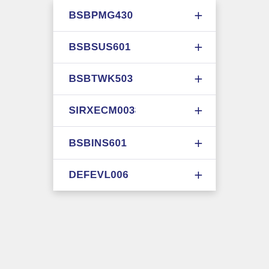BSBPMG430
BSBSUS601
BSBTWK503
SIRXECM003
BSBINS601
DEFEVL006